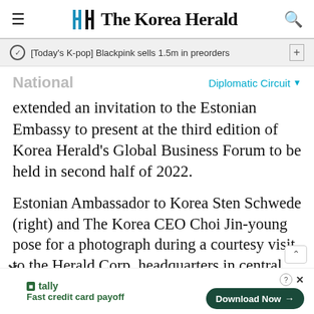The Korea Herald
[Today's K-pop] Blackpink sells 1.5m in preorders
National
Diplomatic Circuit
extended an invitation to the Estonian Embassy to present at the third edition of Korea Herald's Global Business Forum to be held in second half of 2022.
Estonian Ambassador to Korea Sten Schwede (right) and The Korea CEO Choi Jin-young pose for a photograph during a courtesy visit to the Herald Corp. headquarters in central